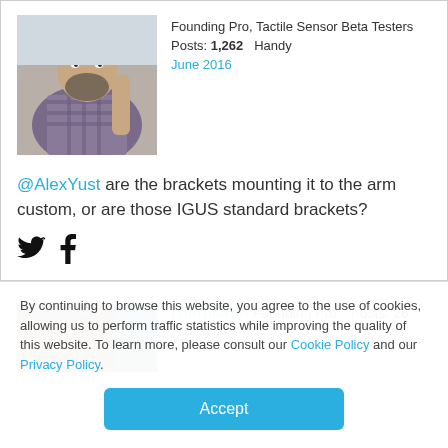[Figure (photo): Profile photo of a man with a beard wearing a plaid shirt]
Founding Pro, Tactile Sensor Beta Testers Posts: 1,262 Handy June 2016
@AlexYust are the brackets mounting it to the arm custom, or are those IGUS standard brackets?
[Figure (illustration): Twitter and Facebook social share icons]
[Figure (photo): Profile photo of tylermartin showing books and blue diagonal design]
tylermartin Founding Pro Posts: 26 Handy
By continuing to browse this website, you agree to the use of cookies, allowing us to perform traffic statistics while improving the quality of this website. To learn more, please consult our Cookie Policy and our Privacy Policy.